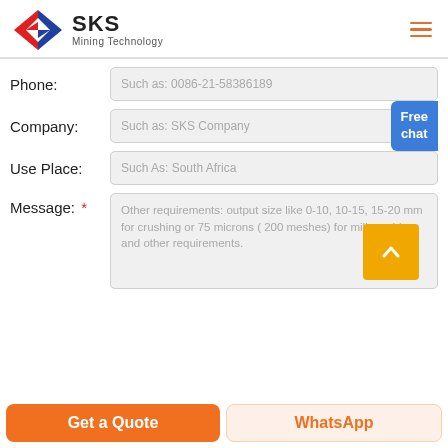[Figure (logo): SKS Mining Technology logo with red and blue diamond-shaped icon and company name]
Phone:
Such as: 0086-21-58386189
Company:
Such as: SKS Company
Free chat
Use Place:
Such As: South Africa
Message: *
Other requirements: output size like 0-10, 10-15, 15-20 mm for crushing or 75 microns ( 200 meshes) for mill machine and other requirements.
Get a Quote
WhatsApp